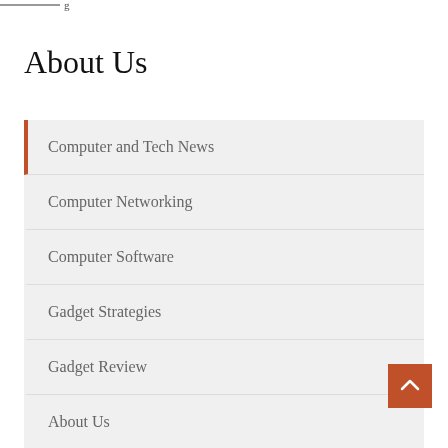g
About Us
Computer and Tech News
Computer Networking
Computer Software
Gadget Strategies
Gadget Review
About Us